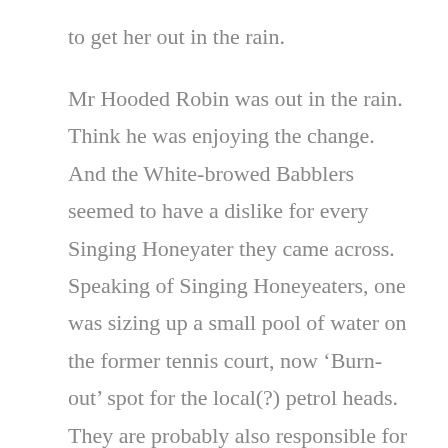to get her out in the rain.
Mr Hooded Robin was out in the rain. Think he was enjoying the change.  And the White-browed Babblers seemed to have a dislike for every Singing Honeyater they came across.  Speaking of Singing Honeyeaters, one was sizing up a small pool of water on the former tennis court, now ‘Burn-out’ spot for the local(?) petrol heads.  They are probably also responsible for slowing wrecking the Goschen Hall.  It  has stood for nigh on 100years and served the community faithfully and now its being torn apart one small bit at a time. Pity